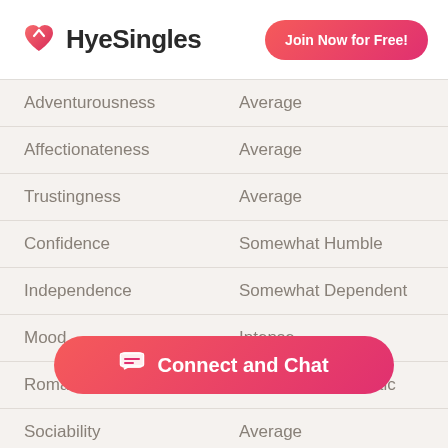HyeSingles — Join Now for Free!
| Trait | Value |
| --- | --- |
| Adventurousness | Average |
| Affectionateness | Average |
| Trustingness | Average |
| Confidence | Somewhat Humble |
| Independence | Somewhat Dependent |
| Mood | Intense |
| Romance | Somewhat Romantic |
| Sociability | Average |
| Thought P… | … |
| Tolerance | Average |